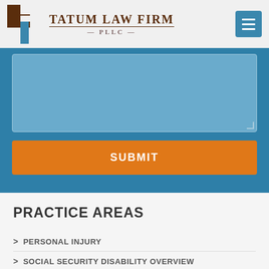[Figure (logo): Tatum Law Firm PLLC logo with geometric icon in brown and blue, and serif firm name text]
[Figure (screenshot): Blue form section with a textarea input (light blue background) and an orange SUBMIT button]
PRACTICE AREAS
> PERSONAL INJURY
> SOCIAL SECURITY DISABILITY OVERVIEW